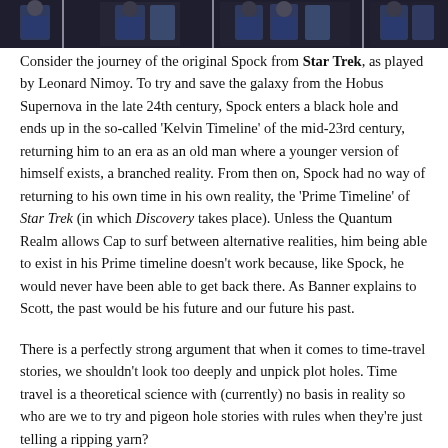[Figure (photo): A strip of photos showing what appears to be people in blue uniforms, likely actors from a science fiction production, shown across multiple side-by-side frames.]
Consider the journey of the original Spock from Star Trek, as played by Leonard Nimoy. To try and save the galaxy from the Hobus Supernova in the late 24th century, Spock enters a black hole and ends up in the so-called 'Kelvin Timeline' of the mid-23rd century, returning him to an era as an old man where a younger version of himself exists, a branched reality. From then on, Spock had no way of returning to his own time in his own reality, the 'Prime Timeline' of Star Trek (in which Discovery takes place). Unless the Quantum Realm allows Cap to surf between alternative realities, him being able to exist in his Prime timeline doesn't work because, like Spock, he would never have been able to get back there. As Banner explains to Scott, the past would be his future and our future his past.
There is a perfectly strong argument that when it comes to time-travel stories, we shouldn't look too deeply and unpick plot holes. Time travel is a theoretical science with (currently) no basis in reality so who are we to try and pigeon hole stories with rules when they're just telling a ripping yarn?
Discovery is a good example of why rules maybe should exist in